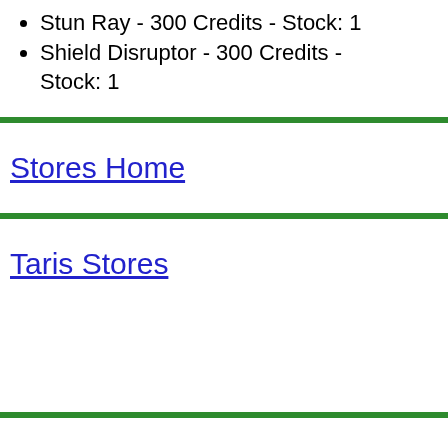Stun Ray - 300 Credits - Stock: 1
Shield Disruptor - 300 Credits - Stock: 1
Stores Home
Taris Stores